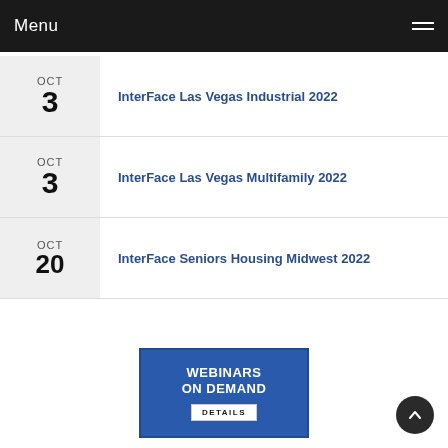Menu
OCT 3 — InterFace Las Vegas Industrial 2022
OCT 3 — InterFace Las Vegas Multifamily 2022
OCT 20 — InterFace Seniors Housing Midwest 2022
[Figure (other): Webinars On Demand banner with DETAILS button, blue background, white text]
[Figure (other): Scroll-to-top circular dark button with upward chevron arrow]